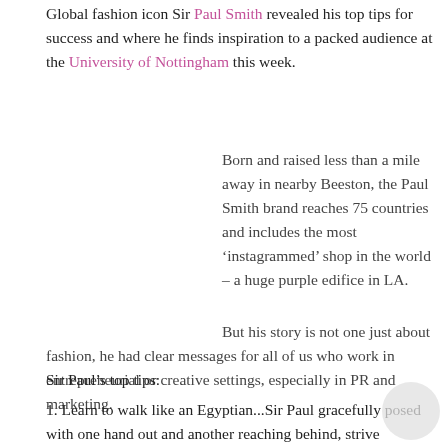Global fashion icon Sir Paul Smith revealed his top tips for success and where he finds inspiration to a packed audience at the University of Nottingham this week.
Born and raised less than a mile away in nearby Beeston, the Paul Smith brand reaches 75 countries and includes the most ‘instagrammed’ shop in the world – a huge purple edifice in LA.
But his story is not one just about fashion, he had clear messages for all of us who work in entrepreneurial or creative settings, especially in PR and marketing.
Sir Paul’s top tips:
1. Learn to walk like an Egyptian...Sir Paul gracefully posed with one hand out and another reaching behind, strive